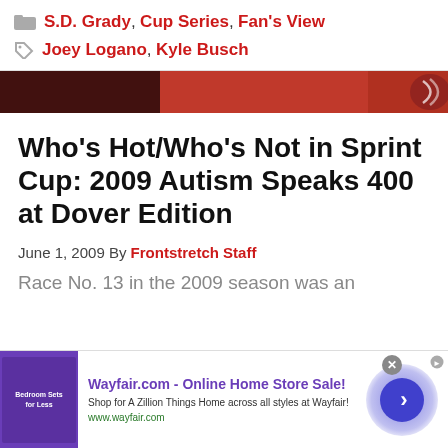S.D. Grady, Cup Series, Fan's View | Joey Logano, Kyle Busch
[Figure (photo): Red racing/NASCAR themed banner strip with dark and light red sections]
Who's Hot/Who's Not in Sprint Cup: 2009 Autism Speaks 400 at Dover Edition
June 1, 2009 By Frontstretch Staff
Race No. 13 in the 2009 season was an
[Figure (screenshot): Wayfair.com advertisement banner: 'Wayfair.com - Online Home Store Sale! Shop for A Zillion Things Home across all styles at Wayfair! www.wayfair.com' with purple bedroom sets thumbnail and blue arrow button]